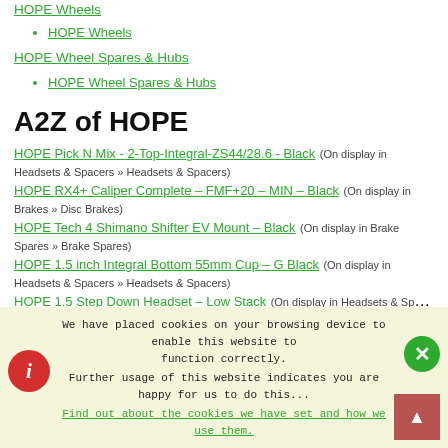HOPE Wheels
HOPE Wheels
HOPE Wheel Spares & Hubs
HOPE Wheel Spares & Hubs
A2Z of HOPE
HOPE Pick N Mix - 2-Top-Integral-ZS44/28.6 - Black (On display in Headsets & Spacers » Headsets & Spacers)
HOPE RX4+ Caliper Complete - FMF+20 - MIN - Black (On display in Brakes » Disc Brakes)
HOPE Tech 4 Shimano Shifter EV Mount - Black (On display in Brake Spares » Brake Spares)
HOPE 1.5 inch Integral Bottom 55mm Cup - G Black (On display in Headsets & Spacers » Headsets & Spacers)
HOPE 1.5 Step Down Headset - Low Stack (On display in Headsets & Spacers »
We have placed cookies on your browsing device to enable this website to function correctly. Further usage of this website indicates you are happy for us to do this... Find out about the cookies we have set and how we use them.